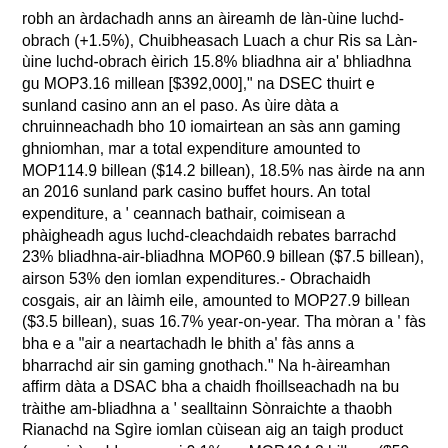robh an àrdachadh anns an àireamh de làn-ùine luchd-obrach (+1.5%), Chuibheasach Luach a chur Ris sa Làn-ùine luchd-obrach èirich 15.8% bliadhna air a' bhliadhna gu MOP3.16 millean [$392,000]," na DSEC thuirt e sunland casino ann an el paso. As ùire dàta a chruinneachadh bho 10 iomairtean an sàs ann gaming ghniomhan, mar a total expenditure amounted to MOP114.9 billean ($14.2 billean), 18.5% nas àirde na ann an 2016 sunland park casino buffet hours. An total expenditure, a ' ceannach bathair, coimisean a phàigheadh agus luchd-cleachdaidh rebates barrachd 23% bliadhna-air-bliadhna MOP60.9 billean ($7.5 billean), airson 53% den iomlan expenditures.- Obrachaidh cosgais, air an làimh eile, amounted to MOP27.9 billean ($3.5 billean), suas 16.7% year-on-year. Tha mòran a ' fàs bha e a "air a neartachadh le bhith a' fàs anns a bharrachd air sin gaming gnothach." Na h-àireamhan affirm dàta a DSAC bha a chaidh fhoillseachadh na bu tràithe am-bliadhna a ' sealltainn Sònraichte a thaobh Rianachd na Sgìre iomlan cùisean aig an taigh product (mar sin), a bha suas ri 9.1% gu MOP404.2 billean ($50 billean), na h-fheàrr às chur eaconomach bho 2013.